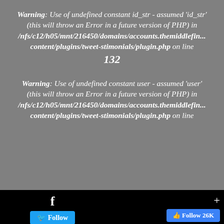Warning: Use of undefined constant id_str - assumed 'id_str' (this will throw an Error in a future version of PHP) in /nfs/c12/h05/mnt/216450/domains/accounts.themiddlefin.../content/plugins/tweet-stimonials/plugin.php on line 132
Warning: Use of undefined constant user - assumed 'user' (this will throw an Error in a future version of PHP) in /nfs/c12/h05/mnt/216450/domains/accounts.themiddlefin.../content/plugins/tweet-stimonials/plugin.php on line 132
[Figure (screenshot): Bottom bar with Facebook icon, Twitter Follow button, plus icon, and Facebook Follow 26K button on black background]